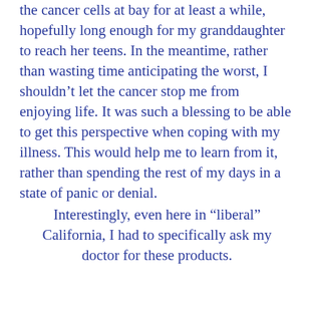the cancer cells at bay for at least a while, hopefully long enough for my granddaughter to reach her teens. In the meantime, rather than wasting time anticipating the worst, I shouldn't let the cancer stop me from enjoying life. It was such a blessing to be able to get this perspective when coping with my illness. This would help me to learn from it, rather than spending the rest of my days in a state of panic or denial.
Interestingly, even here in “liberal” California, I had to specifically ask my doctor for these products.